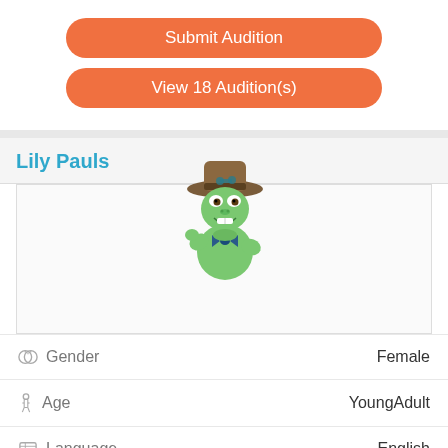Submit Audition
View 18 Audition(s)
Lily Pauls
[Figure (illustration): Green cartoon frog character wearing a brown cowboy hat and bow tie, sitting pose]
| Field | Value |
| --- | --- |
| Gender | Female |
| Age | YoungAdult |
| Language | English |
| Accent | Any |